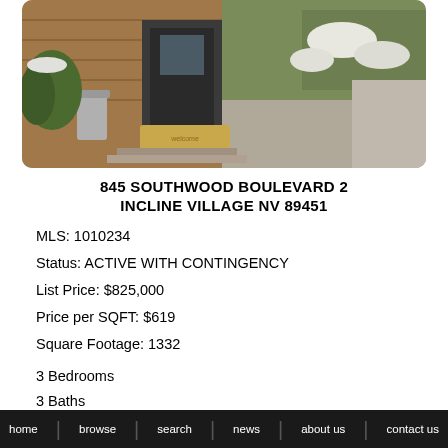[Figure (photo): Exterior photo of a home entrance with wooden siding, dark door with welcome mat, a trash can, and landscaped front area with snow-dusted rocks and shrubs]
845 SOUTHWOOD BOULEVARD 2
INCLINE VILLAGE NV 89451
MLS:  1010234
Status:  ACTIVE WITH CONTINGENCY
List Price:  $825,000
Price per SQFT:  $619
Square Footage:  1332
3 Bedrooms
3 Baths
Year Built:  1966
home   browse   search   news   about us   contact us